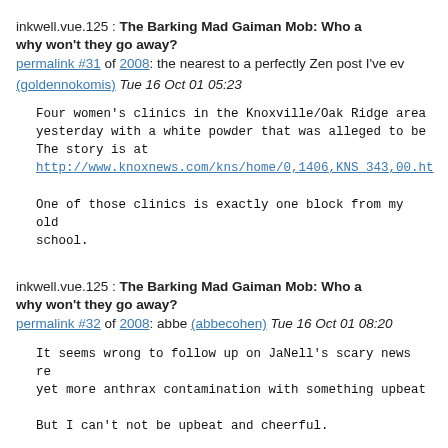inkwell.vue.125 : The Barking Mad Gaiman Mob: Who a why won't they go away?
permalink #31 of 2008: the nearest to a perfectly Zen post I've ev (goldennokomis) Tue 16 Oct 01 05:23
Four women's clinics in the Knoxville/Oak Ridge area yesterday with a white powder that was alleged to be The story is at http://www.knoxnews.com/kns/home/0,1406,KNS_343,00.ht
One of those clinics is exactly one block from my old school.
inkwell.vue.125 : The Barking Mad Gaiman Mob: Who a why won't they go away?
permalink #32 of 2008: abbe (abbecohen) Tue 16 Oct 01 08:20
It seems wrong to follow up on JaNell's scary news re yet more anthrax contamination with something upbeat
But I can't not be upbeat and cheerful.
Last night I saw Tori in Boston... *Great* show... [um